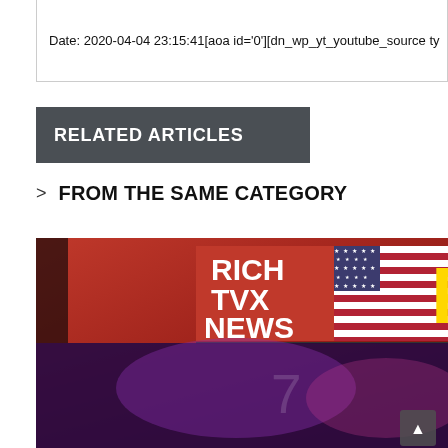Date: 2020-04-04 23:15:41[aoa id='0'][dn_wp_yt_youtube_source ty
RELATED ARTICLES
> FROM THE SAME CATEGORY
[Figure (screenshot): Rich TVX News thumbnail showing logo text 'RICH TVX NEWS' on red background with an American flag beside it and a partial yellow letter 'F' on the right edge. Below is a dark purple/magenta blurred background scene.]